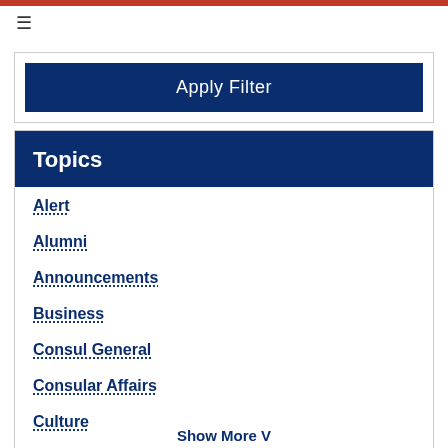[Figure (other): Red horizontal bar at top of page]
[Figure (other): Hamburger menu icon (three horizontal lines)]
Apply Filter
Topics
Alert
Alumni
Announcements
Business
Consul General
Consular Affairs
Culture
Education
Show More V